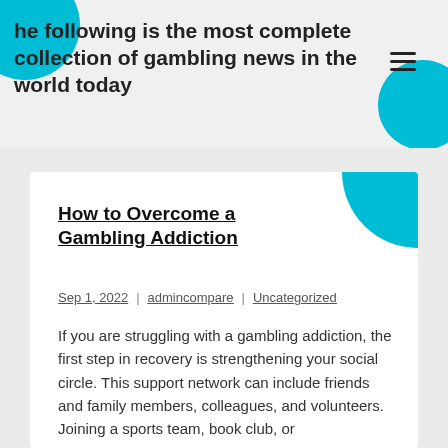The following is the most complete collection of gambling news in the world today
How to Overcome a Gambling Addiction
Sep 1, 2022 | admincompare | Uncategorized
If you are struggling with a gambling addiction, the first step in recovery is strengthening your social circle. This support network can include friends and family members, colleagues, and volunteers. Joining a sports team, book club, or